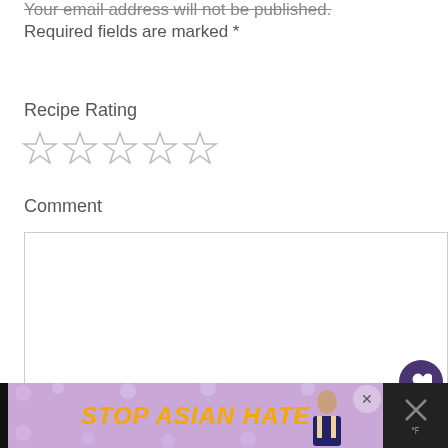Your email address will not be published. Required fields are marked *
Recipe Rating
[Figure (other): Five empty star rating icons]
Comment
[Figure (other): Comment text area input box]
[Figure (other): Heart/like button (purple circle) with count 78 and share button]
[Figure (other): What's Next panel with pretzel image: WHAT'S NEXT → Pretzel-wiches and Pretzel...]
Name *
[Figure (other): Ad banner: STOP ASIAN HATE with close button and dismiss icon]